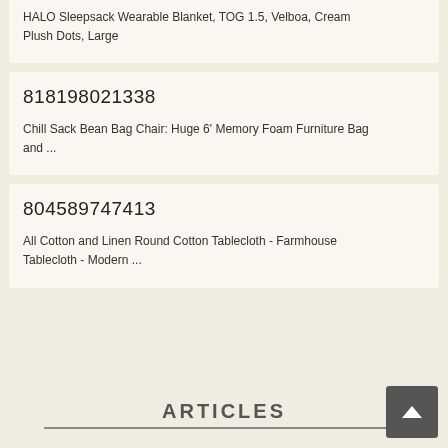HALO Sleepsack Wearable Blanket, TOG 1.5, Velboa, Cream Plush Dots, Large
818198021338
Chill Sack Bean Bag Chair: Huge 6' Memory Foam Furniture Bag and ...
804589747413
All Cotton and Linen Round Cotton Tablecloth - Farmhouse Tablecloth - Modern ...
ARTICLES